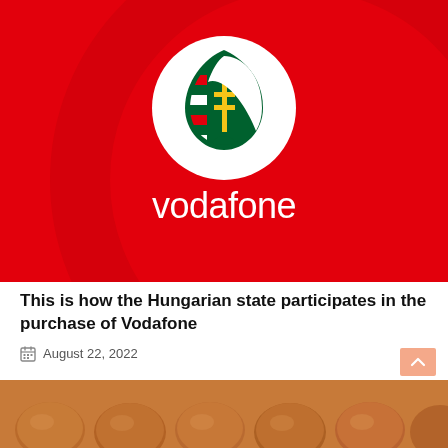[Figure (logo): Vodafone logo on red background — white circle with Hungarian coat of arms inside the Vodafone speech-bubble icon, and 'vodafone' text in white below, on a bright red background with a subtle darker red circle arc]
This is how the Hungarian state participates in the purchase of Vodafone
August 22, 2022
[Figure (photo): Close-up photo of brown eggs, blurred warm-toned background]